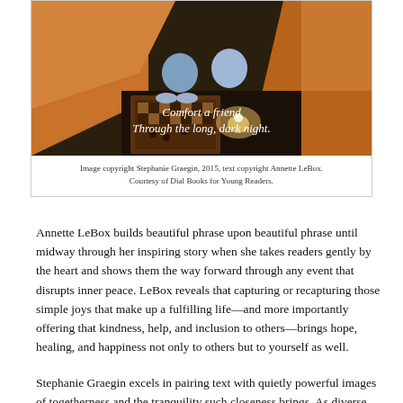[Figure (illustration): Illustration showing children playing a board game together in a warm, dimly lit room with orange furniture. Text overlay reads 'Comfort a friend / Through the long, dark night.']
Image copyright Stephanie Graegin, 2015, text copyright Annette LeBox. Courtesy of Dial Books for Young Readers.
Annette LeBox builds beautiful phrase upon beautiful phrase until midway through her inspiring story when she takes readers gently by the heart and shows them the way forward through any event that disrupts inner peace. LeBox reveals that capturing or recapturing those simple joys that make up a fulfilling life—and more importantly offering that kindness, help, and inclusion to others—brings hope, healing, and happiness not only to others but to yourself as well.
Stephanie Graegin excels in pairing text with quietly powerful images of togetherness and the tranquility such closeness brings. As diverse groups of friends, siblings, and families go